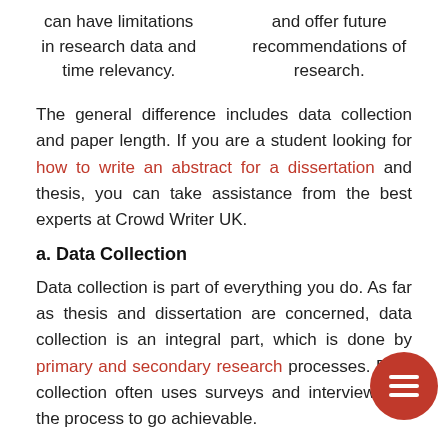can have limitations in research data and time relevancy.
and offer future recommendations of research.
The general difference includes data collection and paper length. If you are a student looking for how to write an abstract for a dissertation and thesis, you can take assistance from the best experts at Crowd Writer UK.
a. Data Collection
Data collection is part of everything you do. As far as thesis and dissertation are concerned, data collection is an integral part, which is done by primary and secondary research processes. Data collection often uses surveys and interviews for the process to go achievable.